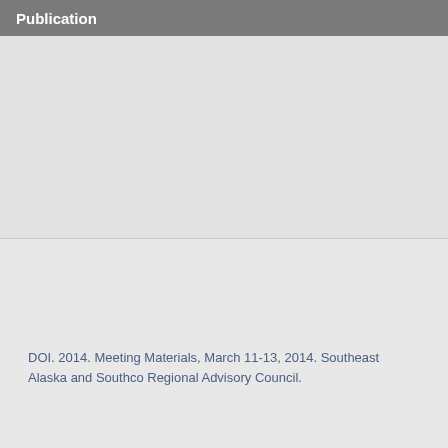Publication
DOI. 2014. Meeting Materials, March 11-13, 2014. Southeast Alaska and Southcoast Regional Advisory Council.